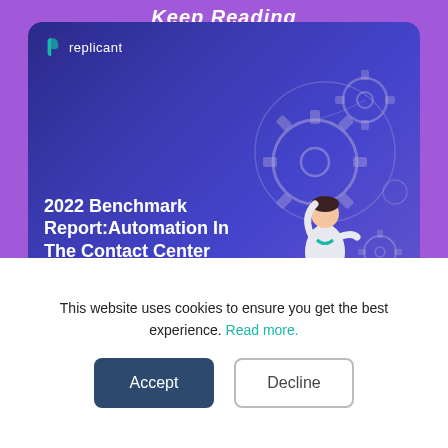Keep Reading
[Figure (illustration): Replicant branded card showing '2022 Benchmark Report: Automation In The Contact Center' with a dark blue gradient background and an illustration of a person working with gears, alongside the Replicant logo at top left.]
This website uses cookies to ensure you get the best experience. Read more.
Accept
Decline